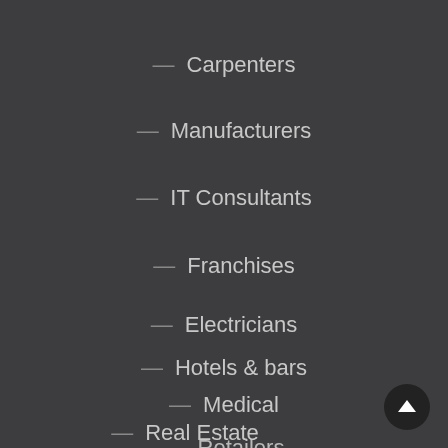— Carpenters
— Manufacturers
— IT Consultants
— Franchises
— Electricians
— Hotels & bars
— Medical
— Real Estate
— Retailers